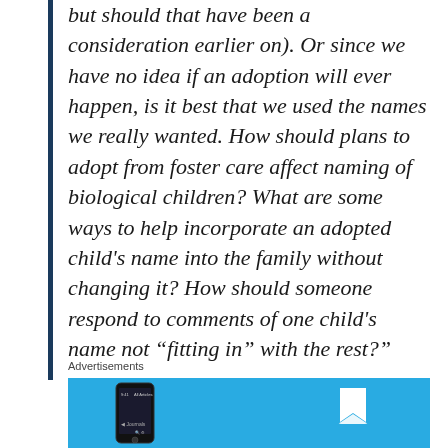but should that have been a consideration earlier on). Or since we have no idea if an adoption will ever happen, is it best that we used the names we really wanted. How should plans to adopt from foster care affect naming of biological children? What are some ways to help incorporate an adopted child's name into the family without changing it? How should someone respond to comments of one child's name not “fitting in” with the rest?”
Advertisements
[Figure (screenshot): Advertisement banner with blue background showing a phone mockup on the left and a bookmark icon on the right]